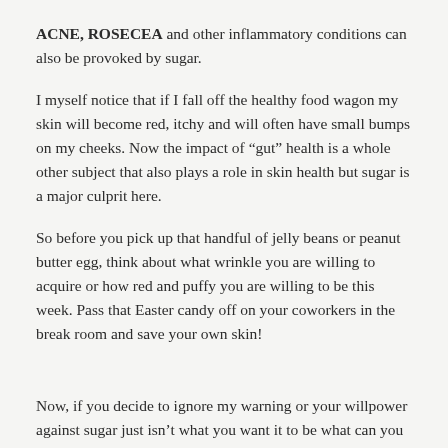ACNE, ROSECEA and other inflammatory conditions can also be provoked by sugar.
I myself notice that if I fall off the healthy food wagon my skin will become red, itchy and will often have small bumps on my cheeks. Now the impact of “gut” health is a whole other subject that also plays a role in skin health but sugar is a major culprit here.
So before you pick up that handful of jelly beans or peanut butter egg, think about what wrinkle you are willing to acquire or how red and puffy you are willing to be this week. Pass that Easter candy off on your coworkers in the break room and save your own skin!
Now, if you decide to ignore my warning or your willpower against sugar just isn’t what you want it to be what can you do about it?? There are products on the market to help slow  the destruction of collagen and elastin and reduce inflammation. Rhonda Allison’s